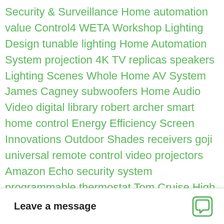Security & Surveillance Home automation value Control4 WETA Workshop Lighting Design tunable lighting Home Automation System projection 4K TV replicas speakers Lighting Scenes Whole Home AV System James Cagney subwoofers Home Audio Video digital library robert archer smart home control Energy Efficiency Screen Innovations Outdoor Shades receivers goji universal remote control video projectors Amazon Echo security system programmable thermostat Tom Cruise High End Speakers Prysm Blu-ray outdoor speakers Video Surveillance System Interior Lighting Boardroom Technology fire alarm Home Theater System holidays portable Mel Gibson Automated Shades Humphrey Bogart Smart Home Scenes motorized shades Control4 Smart Home Smart Security System Whole-Home Audio comeback Smart Home speaker placement pre amplifier OS 3 Patton Sony dorm smart homes Lutron Outdoor TVs Streaming Services Video Surveillance HD Intercom Tom Hanks ci… Olympic games Customiza…
Leave a message